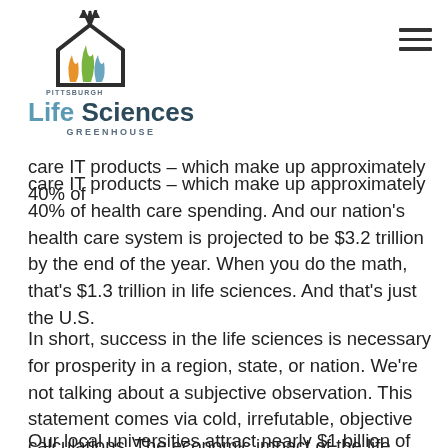[Figure (logo): Pittsburgh Life Sciences Greenhouse logo with stylized flames/arrows icon above the text]
care IT products – which make up approximately 40% of health care spending. And our nation's health care system is projected to be $3.2 trillion by the end of the year. When you do the math, that's $1.3 trillion in life sciences.  And that's just the U.S.
In short, success in the life sciences is necessary for prosperity in a region, state, or nation.  We're not talking about a subjective observation.  This statement comes via cold, irrefutable, objective calculations.  The economic impact of the life sciences industry is simply too big to ignore and too important not to invest in heavily.
Our local universities attract nearly $1 billion of federal